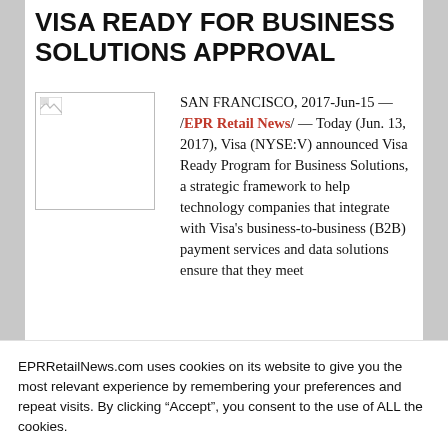VISA READY FOR BUSINESS SOLUTIONS APPROVAL
[Figure (photo): Small thumbnail image placeholder with broken image icon]
SAN FRANCISCO, 2017-Jun-15 — /EPR Retail News/ — Today (Jun. 13, 2017), Visa (NYSE:V) announced Visa Ready Program for Business Solutions, a strategic framework to help technology companies that integrate with Visa's business-to-business (B2B) payment services and data solutions ensure that they meet
EPRRetailNews.com uses cookies on its website to give you the most relevant experience by remembering your preferences and repeat visits. By clicking "Accept", you consent to the use of ALL the cookies.
Cookie settings  ACCEPT